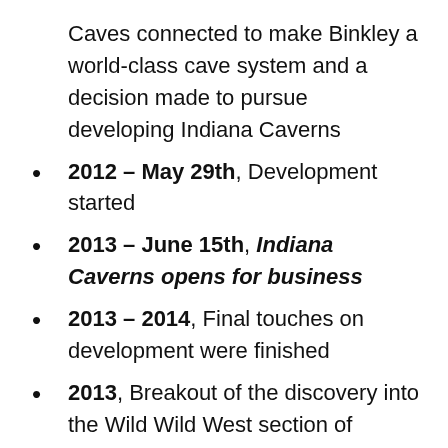Caves connected to make Binkley a world-class cave system and a decision made to pursue developing Indiana Caverns
2012 – May 29th, Development started
2013 – June 15th, Indiana Caverns opens for business
2013 – 2014, Final touches on development were finished
2013, Breakout of the discovery into the Wild Wild West section of Binkley Cave leads to speculation that Binkley could one day be a 100-mile